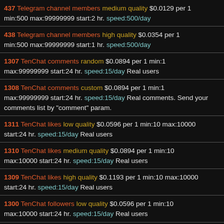437 Telegram channel members medium quality $0.0129 per 1 min:500 max:99999999 start:2 hr. speed:500/day
438 Telegram channel members high quality $0.0354 per 1 min:500 max:99999999 start:1 hr. speed:500/day
1307 TenChat comments random $0.0894 per 1 min:1 max:99999999 start:24 hr. speed:15/day Real users
1308 TenChat comments custom $0.0894 per 1 min:1 max:99999999 start:24 hr. speed:15/day Real comments. Send your comments list by "comment" param.
1311 TenChat likes low quality $0.0596 per 1 min:10 max:10000 start:24 hr. speed:15/day Real users
1310 TenChat likes medium quality $0.0894 per 1 min:10 max:10000 start:24 hr. speed:15/day Real users
1309 TenChat likes high quality $0.1193 per 1 min:10 max:10000 start:24 hr. speed:15/day Real users
1300 TenChat followers low quality $0.0596 per 1 min:10 max:10000 start:24 hr. speed:15/day Real users